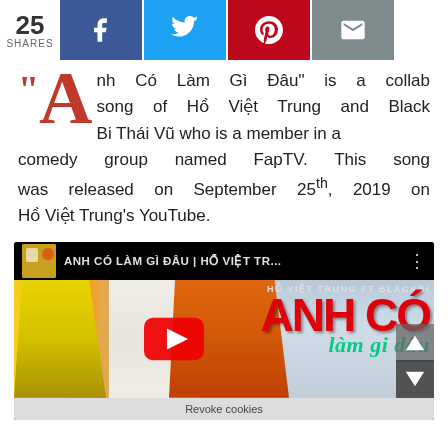25 SHARES — share bar with Facebook, Twitter, Pinterest, Email buttons
“Anh Có Làm Gì Đâu" is a collab song of Hồ Việt Trung and Black Bi Thái Vũ who is a member in a comedy group named FapTV. This song was released on September 25th, 2019 on Hồ Việt Trung's YouTube.
[Figure (screenshot): YouTube video thumbnail for 'ANH CÓ LÀM GÌ ĐÂU | HỒ VIỆT TR...' showing three people: a man in a yellow jacket on the left, a woman in white bikini in the center, and a man in an orange suit on the right. A red YouTube play button is in the center. Red text overlaid reads 'ANH CÓ' and in cursive teal 'làm gi dâu'. Small text says 'HỒ VIỆT TRUNG FT BLACKBI'. Bottom bar reads 'Revoke cookies'.]